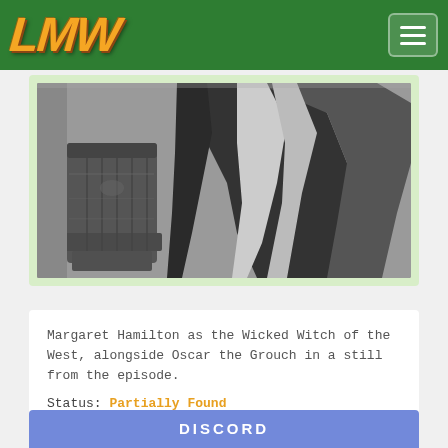LMW
[Figure (photo): Black and white still photograph showing Margaret Hamilton as the Wicked Witch of the West alongside Oscar the Grouch (a trash can), with dark draped fabric/cloak visible.]
Margaret Hamilton as the Wicked Witch of the West, alongside Oscar the Grouch in a still from the episode.
Status: Partially Found
DISCORD